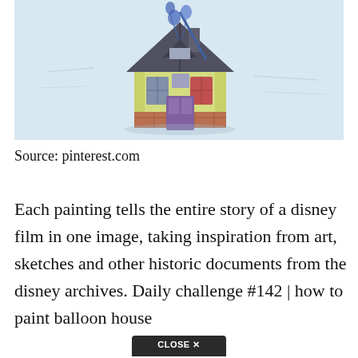[Figure (illustration): A hand-drawn colored pencil illustration of the house from the Disney/Pixar film 'Up', showing a yellow house with a peaked roof, balloons attached, on a light blue background.]
Source: pinterest.com
Each painting tells the entire story of a disney film in one image, taking inspiration from art, sketches and other historic documents from the disney archives. Daily challenge #142 | how to paint balloon house